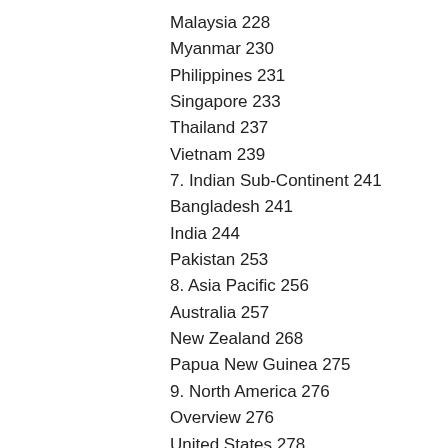Malaysia 228
Myanmar 230
Philippines 231
Singapore 233
Thailand 237
Vietnam 239
7. Indian Sub-Continent 241
Bangladesh 241
India 244
Pakistan 253
8. Asia Pacific 256
Australia 257
New Zealand 268
Papua New Guinea 275
9. North America 276
Overview 276
United States 278
Canada 295
Mexico 304